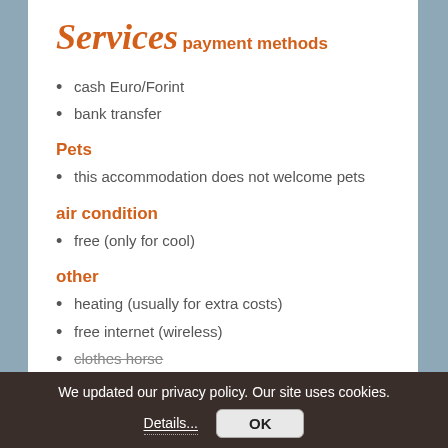Services
payment methods
cash Euro/Forint
bank transfer
Pets
this accommodation does not welcome pets
air condition
free (only for cool)
other
heating (usually for extra costs)
free internet (wireless)
clothes horse
We updated our privacy policy. Our site uses cookies. Details... OK